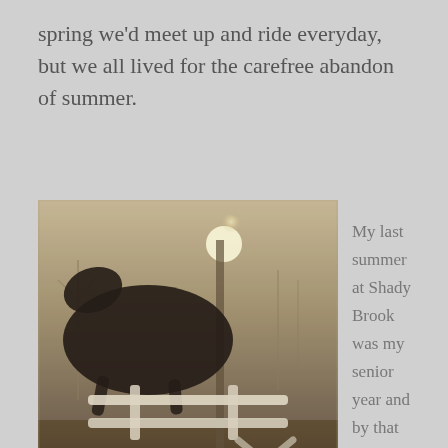spring we'd meet up and ride everyday, but we all lived for the carefree abandon of summer.
[Figure (photo): A sepia-toned vintage photograph of a dark horse jumping over a white fence/show jump barrier, with bright sunlight visible in the background and bare winter trees. The scene appears to be at an equestrian facility.]
My last summer at Shady Brook was my senior year and by that time, most people had moved